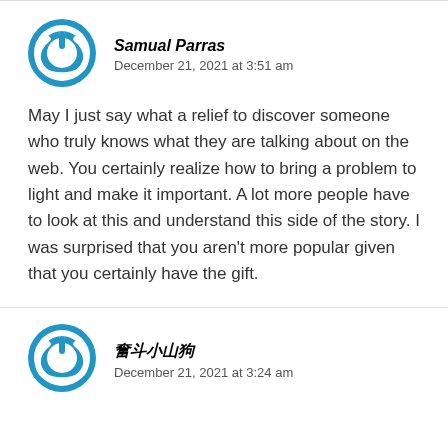[Figure (logo): Blue circular power button icon avatar for user Samual Parras]
Samual Parras
December 21, 2021 at 3:51 am
May I just say what a relief to discover someone who truly knows what they are talking about on the web. You certainly realize how to bring a problem to light and make it important. A lot more people have to look at this and understand this side of the story. I was surprised that you aren't more popular given that you certainly have the gift.
[Figure (logo): Blue circular power button icon avatar for second commenter]
奋斗小山狗
December 21, 2021 at 3:24 am